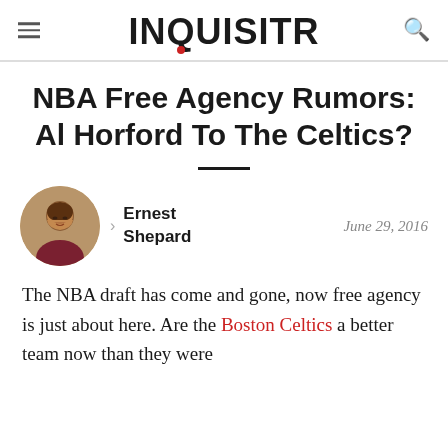INQUISITR
NBA Free Agency Rumors: Al Horford To The Celtics?
Ernest Shepard
June 29, 2016
The NBA draft has come and gone, now free agency is just about here. Are the Boston Celtics a better team now than they were